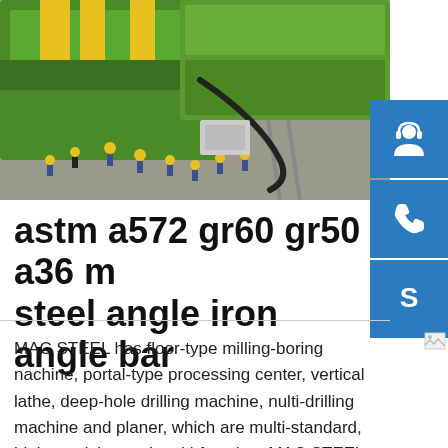[Figure (photo): Aerial view of an industrial facility with large green machinery and workers in yellow hard hats and blue uniforms on a factory floor.]
astm a572 gr60 gr50 a36 m steel angle iron angle bar
MAC STEEL has floor-type milling-boring nachine, portal-type processing center, vertical lathe, deep-hole drilling machine, nulti-drilling machine and planer, which are multi-standard, high-precision and multi-function. MAC STEEL has a wealth of machining experience and cases, such as the processing of tube sheets, food